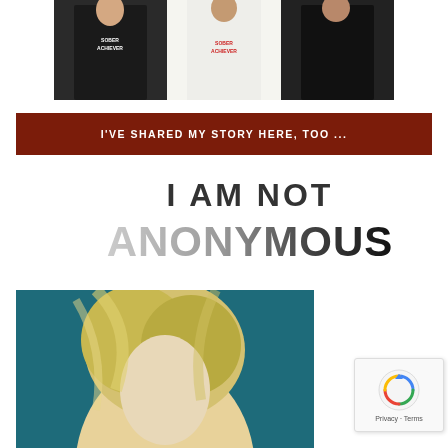[Figure (photo): Three models wearing 'Sober Achiever' branded t-shirts in different styles and colors (black fitted, white loose, black with pocket)]
[Figure (infographic): Dark red/brown banner with white bold uppercase text reading: I'VE SHARED MY STORY HERE, TOO ...]
[Figure (logo): I AM NOT ANONYMOUS logo in large bold stylized text with gradient from light gray to dark black]
[Figure (photo): Close-up portrait of a person with blonde hair against a teal background, cropped at the bottom of the page]
[Figure (other): Google reCAPTCHA widget showing rotating arrows icon and 'Privacy - Terms' text link at bottom right corner]